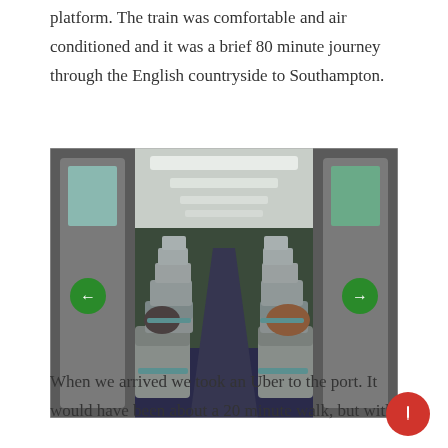platform. The train was comfortable and air conditioned and it was a brief 80 minute journey through the English countryside to Southampton.
[Figure (photo): Interior of a train carriage showing rows of grey and teal seats stretching down the aisle, with passengers seated, large windows on both sides, fluorescent ceiling lighting, and green circle arrow signs on both doors at the front of the carriage.]
When we arrived we took an Uber to the port. It would have been about a 20 minute walk, but with